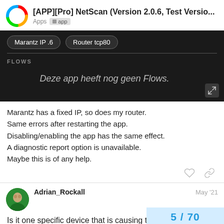[APP][Pro] NetScan (Version 2.0.6, Test Versio... Apps app
[Figure (screenshot): Dark-themed app screenshot showing device list items 'Marantz IP .6' and 'Router tcp80' with a FLOWS section below showing 'Deze app heeft nog geen Flows.' in italic text]
Marantz has a fixed IP, so does my router.
Same errors after restarting the app.
Disabling/enabling the app has the same effect.
A diagnostic report option is unavailable.
Maybe this is of any help.
Adrian_Rockall May '21
Is it one specific device that is causing t